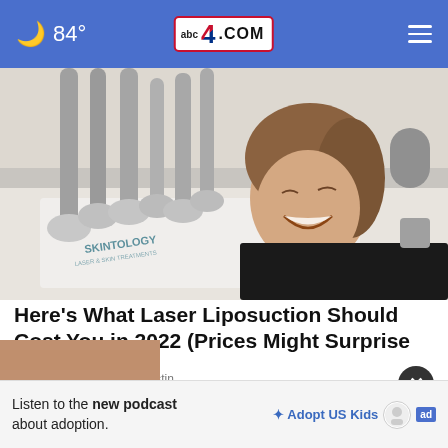84° | abc4.com
[Figure (photo): Woman lying on a treatment table smiling, surrounded by laser liposuction machine applicators. A branded drape reading 'SKINTOLOGY' is visible.]
Here's What Laser Liposuction Should Cost You in 2022 (Prices Might Surprise You
Liposuction | Sponsored Listin
Listen to the new podcast about adoption.
[Figure (logo): Adopt US Kids logo and HHS badge alongside ad choices icon]